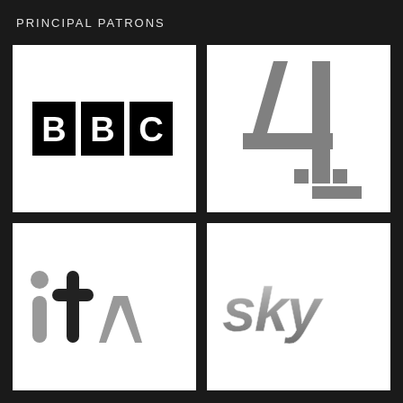PRINCIPAL PATRONS
[Figure (logo): BBC logo - white letters BBC on black rectangular background]
[Figure (logo): Channel 4 logo - grey geometric '4' shape made of diagonal and horizontal bars]
[Figure (logo): ITV logo - grey lowercase 'itv' with dot above 'i' and stylized 'tv']
[Figure (logo): Sky logo - grey 3D metallic lowercase 'sky' lettering]